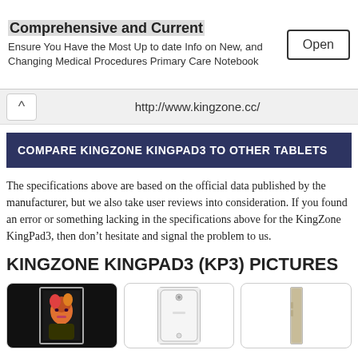[Figure (other): Advertisement banner: 'Comprehensive and Current' - Ensure You Have the Most Up to date Info on New, and Changing Medical Procedures Primary Care Notebook, with an Open button]
http://www.kingzone.cc/
COMPARE KINGZONE KINGPAD3 TO OTHER TABLETS
The specifications above are based on the official data published by the manufacturer, but we also take user reviews into consideration. If you found an error or something lacking in the specifications above for the KingZone KingPad3, then don’t hesitate and signal the problem to us.
KINGZONE KINGPAD3 (KP3) PICTURES
[Figure (photo): Three tablet product images: front view showing a person with colorful hair, back view of white tablet, and side/edge view of tablet]
KingZone KingPad3 product images